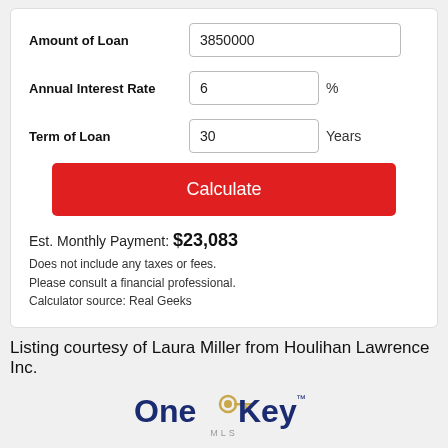Amount of Loan: 3850000
Annual Interest Rate: 6 %
Term of Loan: 30 Years
Calculate
Est. Monthly Payment: $23,083
Does not include any taxes or fees.
Please consult a financial professional.
Calculator source: Real Geeks
Listing courtesy of Laura Miller from Houlihan Lawrence Inc.
[Figure (logo): OneKey MLS logo with stylized key icon between 'One' and 'Key' text and 'MLS' subtitle]
Display of MLS Data is usually deemed reliable but is NOT guaranteed accurate by the MLS. Buyers are responsible for verifying the accuracy of all information and should